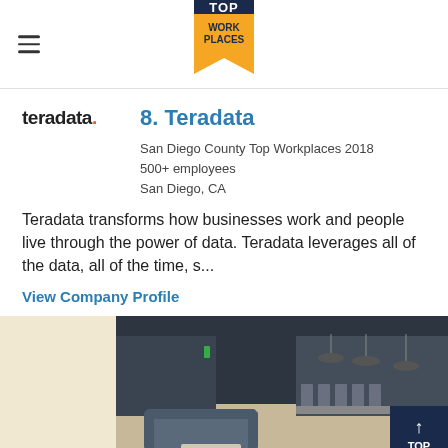TOP WORK PLACES
[Figure (logo): Teradata company logo with orange dot]
8. Teradata
San Diego County Top Workplaces 2018
500+ employees
San Diego, CA
Teradata transforms how businesses work and people live through the power of data. Teradata leverages all of the data, all of the time, s...
View Company Profile
[Figure (photo): Interior photo of a modern office lounge/cafeteria area with dark ceiling, pendant lights, a sofa, and dining tables in the background]